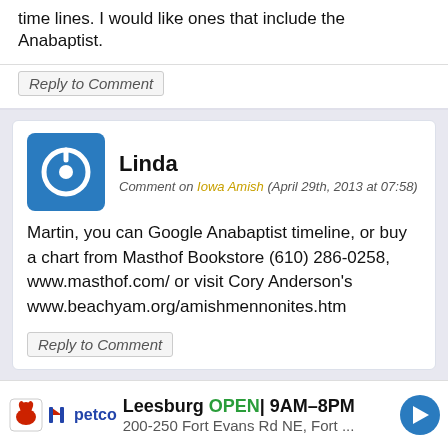time lines. I would like ones that include the Anabaptist.
Reply to Comment
Linda
Comment on Iowa Amish (April 29th, 2013 at 07:58)
Martin, you can Google Anabaptist timeline, or buy a chart from Masthof Bookstore (610) 286-0258, www.masthof.com/ or visit Cory Anderson’s www.beachyam.org/amishmennonites.htm
Reply to Comment
Irene
Comment on Quaker coops (May 2nd, 2013 at 20:42)
Leesburg OPEN 9AM–8PM 200-250 Fort Evans Rd NE, Fort ...